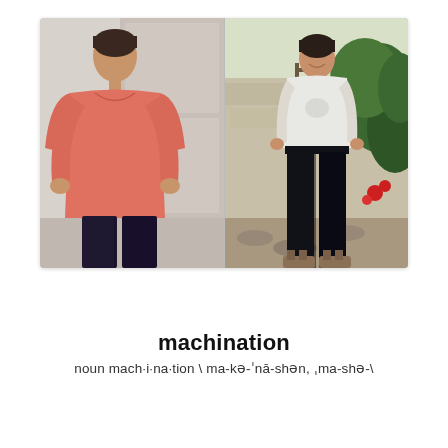[Figure (photo): Three fashion photos: two photos of a woman wearing a coral/salmon top and dark jeans (front and back view), and one photo of a woman in a light t-shirt and black skinny jeans standing in a garden]
REFASHION: ANDERSON TO MERCURY
BLACK SKINNY DAWN JEANS
machination
noun mach·i·na·tion \ ma-kə-ˈnā-shən, ˌma-shə-\